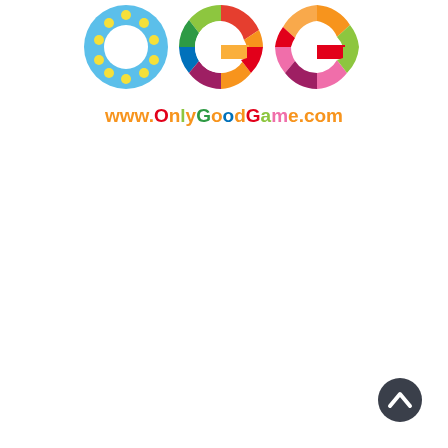[Figure (logo): OGG logo with colorful stylized letters O, G, G and URL www.OnlyGoodGame.com below. The O is light blue with yellow polka dots, the G letters are multicolored patchwork segments. Below is the website URL in colorful letters.]
[Figure (other): Dark circular back-to-top button with white upward chevron arrow in bottom right corner]